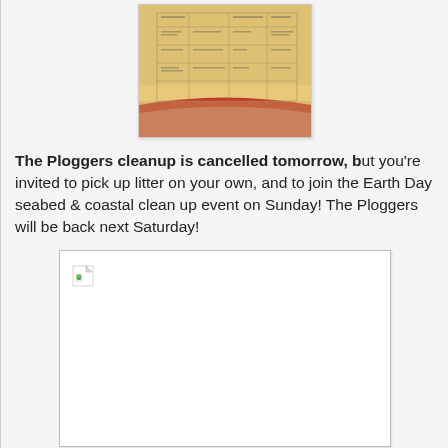[Figure (other): Thumbnail of a document with a table/schedule layout on a warm golden-red background with a red swoosh at the bottom]
The Ploggers cleanup is cancelled tomorrow, but you're invited to pick up litter on your own, and to join the Earth Day seabed & coastal clean up event on Sunday! The Ploggers will be back next Saturday!
[Figure (other): Broken/missing image placeholder with a small image icon in the top-left corner, white background with grey border]